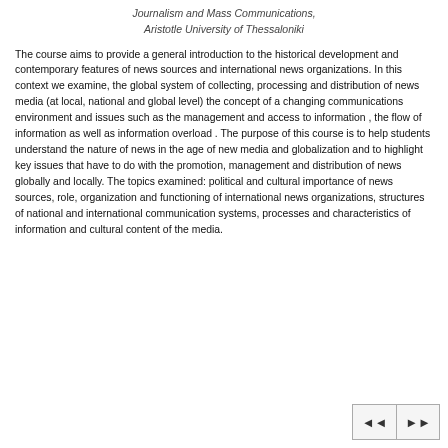Journalism and Mass Communications, Aristotle University of Thessaloniki
The course aims to provide a general introduction to the historical development and contemporary features of news sources and international news organizations. In this context we examine, the global system of collecting, processing and distribution of news media (at local, national and global level) the concept of a changing communications environment and issues such as the management and access to information , the flow of information as well as information overload . The purpose of this course is to help students understand the nature of news in the age of new media and globalization and to highlight key issues that have to do with the promotion, management and distribution of news globally and locally. The topics examined: political and cultural importance of news sources, role, organization and functioning of international news organizations, structures of national and international communication systems, processes and characteristics of information and cultural content of the media.